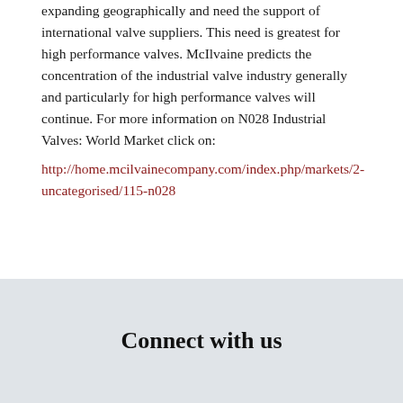expanding geographically and need the support of international valve suppliers. This need is greatest for high performance valves. McIlvaine predicts the concentration of the industrial valve industry generally and particularly for high performance valves will continue. For more information on N028 Industrial Valves: World Market click on:
http://home.mcilvainecompany.com/index.php/markets/2-uncategorised/115-n028
Connect with us